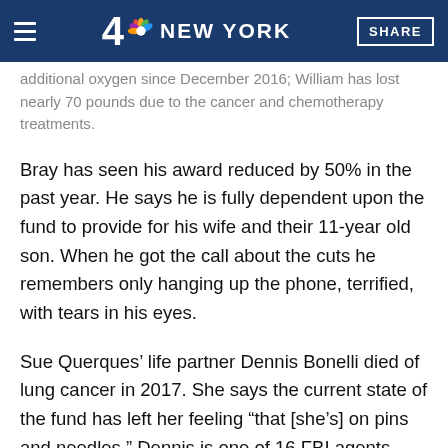4 NBC NEW YORK | SHARE
additional oxygen since December 2016; William has lost nearly 70 pounds due to the cancer and chemotherapy treatments.
Bray has seen his award reduced by 50% in the past year. He says he is fully dependent upon the fund to provide for his wife and their 11-year old son. When he got the call about the cuts he remembers only hanging up the phone, terrified, with tears in his eyes.
Sue Querques’ life partner Dennis Bonelli died of lung cancer in 2017. She says the current state of the fund has left her feeling “that [she’s] on pins and needles.” Dennis is one of 16 FBI agents confirmed to have died from a 9/11-related illness.